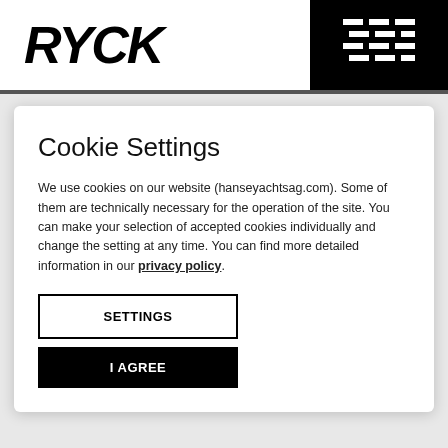RYCK
Cookie Settings
We use cookies on our website (hanseyachtsag.com). Some of them are technically necessary for the operation of the site. You can make your selection of accepted cookies individually and change the setting at any time. You can find more detailed information in our privacy policy.
SETTINGS
I AGREE